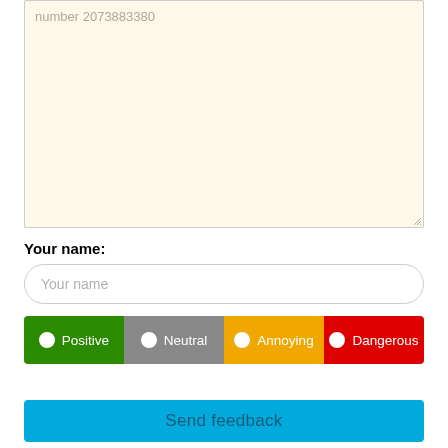number 2073883380
Your name:
Your name
Positive  Neutral  Annoying  Dangerous
Send feedback